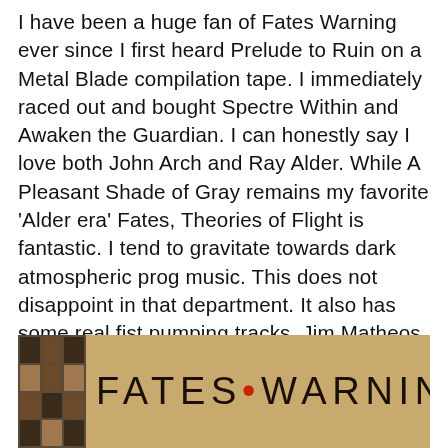I have been a huge fan of Fates Warning ever since I first heard Prelude to Ruin on a Metal Blade compilation tape. I immediately raced out and bought Spectre Within and Awaken the Guardian. I can honestly say I love both John Arch and Ray Alder. While A Pleasant Shade of Gray remains my favorite 'Alder era' Fates, Theories of Flight is fantastic. I tend to gravitate towards dark atmospheric prog music. This does not disappoint in that department. It also has some real fist pumping tracks. Jim Matheos is brilliant, and weaves superb and intricate guitar-work throughout. Ray's voice has a warm, almost smoky quality that conveys emotion almost better than anyone else. Joey Vera, Bobby Jarzombek and Frank Aresti of course are stellar. Listen with headphones, as the instrumental interplay can be hypnotic.
[Figure (photo): Album cover or promotional image for Fates Warning showing the band name in large letters with a textured tan/brown background and a decorative panel on the left side with grid-like cells.]